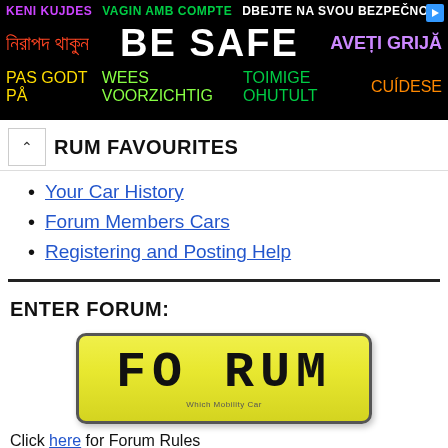[Figure (infographic): Safety banner advertisement with multilingual 'BE SAFE' message on black background with colored text in multiple languages including Bengali, Albanian, Danish, Dutch, Estonian, Spanish, and others.]
FORUM FAVOURITES
Your Car History
Forum Members Cars
Registering and Posting Help
ENTER FORUM:
[Figure (illustration): Yellow UK-style number plate reading 'FO RUM' with 'Which Mobility Car' text below.]
Click here for Forum Rules